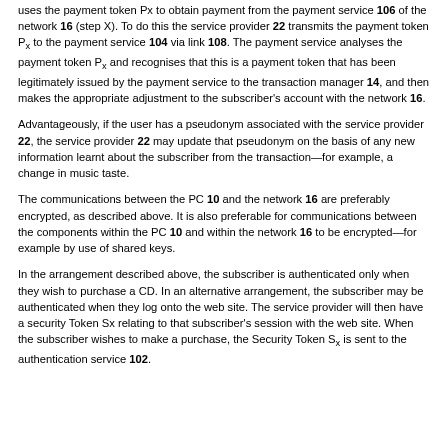uses the payment token Px to obtain payment from the payment service 106 of the network 16 (step X). To do this the service provider 22 transmits the payment token Px to the payment service 104 via link 108. The payment service analyses the payment token Px and recognises that this is a payment token that has been legitimately issued by the payment service to the transaction manager 14, and then makes the appropriate adjustment to the subscriber's account with the network 16.
Advantageously, if the user has a pseudonym associated with the service provider 22, the service provider 22 may update that pseudonym on the basis of any new information learnt about the subscriber from the transaction—for example, a change in music taste.
The communications between the PC 10 and the network 16 are preferably encrypted, as described above. It is also preferable for communications between the components within the PC 10 and within the network 16 to be encrypted—for example by use of shared keys.
In the arrangement described above, the subscriber is authenticated only when they wish to purchase a CD. In an alternative arrangement, the subscriber may be authenticated when they log onto the web site. The service provider will then have a security Token Sx relating to that subscriber's session with the web site. When the subscriber wishes to make a purchase, the Security Token Sx is sent to the authentication service 102.